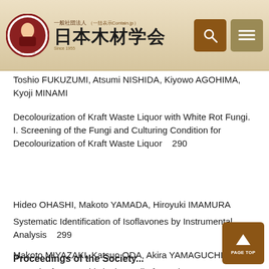一般社団法人 日本木材学会
Toshio FUKUZUMI, Atsumi NISHIDA, Kiyowo AGOHIMA, Kyoji MINAMI
Decolourization of Kraft Waste Liquor with White Rot Fungi. I. Screening of the Fungi and Culturing Condition for Decolourization of Kraft Waste Liquor    290
Hideo OHASHI, Makoto YAMADA, Hiroyuki IMAMURA
Systematic Identification of Isoflavones by Instrumental Analysis    299
Makoto MIYAZAKI, Katsuo ODA, Akira YAMAGUCHI
Deposit of Fatty Acids in the Wall of Pupal Chamber made by Monochamus alternatus    307
Proceedings of the Society...